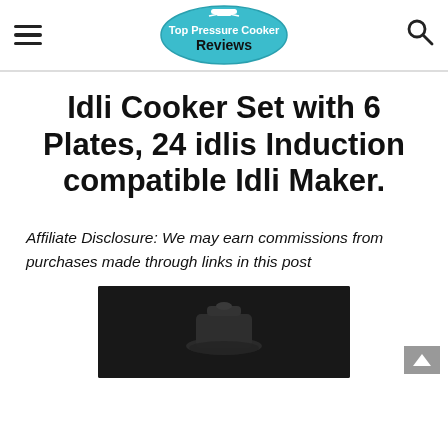Top Pressure Cooker Reviews (logo)
Idli Cooker Set with 6 Plates, 24 idlis Induction compatible Idli Maker.
Affiliate Disclosure: We may earn commissions from purchases made through links in this post
[Figure (photo): Product photo of Idli Cooker on dark background]